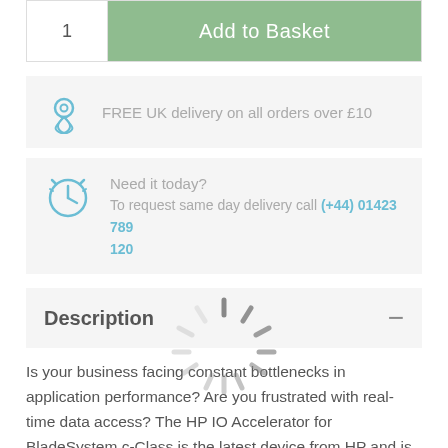1   Add to Basket
FREE UK delivery on all orders over £10
Need it today? To request same day delivery call (+44) 01423 789 120
[Figure (other): Loading spinner animation overlay]
Description
Is your business facing constant bottlenecks in application performance? Are you frustrated with real-time data access? The HP IO Accelerator for BladeSystem c-Class is the latest device from HP and is part of a comprehensive solid state storage portfolio. This device is targeted for markets and